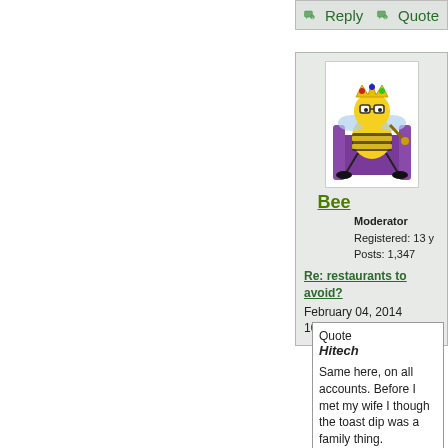[Figure (screenshot): Forum reply and quote buttons at top right]
[Figure (illustration): Cartoon bee character avatar sitting on a throne]
Bee
Moderator
Registered: 13 y
Posts: 1,347
Re: restaurants to avoid?
February 04, 2014 10:26PM
Quote
Hitech

Same here, on all accounts. Before I met my wife I though the toast dip was a family thing. Apparently lots of other people